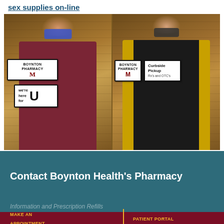sex supplies on-line
[Figure (photo): Two pharmacy staff members holding signs in a pharmacy store. Left person wears a blue mask and maroon Minnesota shirt, holding a 'Boynton Pharmacy' sign and a 'we're here for U' sign. Right person wears a dark mask and gold cardigan, holding a 'Boynton Pharmacy' sign and a 'Curbside Pickup Rx's and OTC's' sign.]
Contact Boynton Health's Pharmacy
Information and Prescription Refills
MAKE AN APPOINTMENT
PATIENT PORTAL